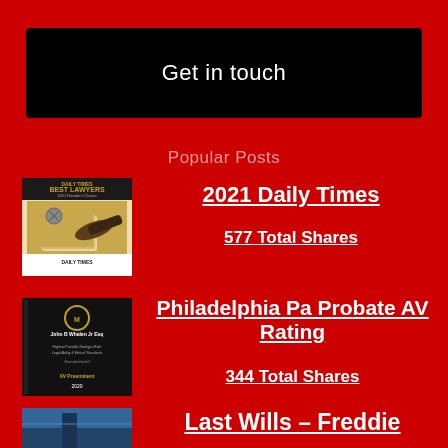Get in touch
Popular Posts
[Figure (photo): Daily Times Best Lawyers magazine cover with gavel and scales of justice]
2021 Daily Times
577 Total Shares
[Figure (photo): Martindale-Hubbell AV Rating certificate for John B Whalen Jr Esq, dark background]
Philadelphia Pa Probate AV Rating
344 Total Shares
[Figure (photo): Blue sky/building photo for Last Wills post]
Last Wills – Freddie